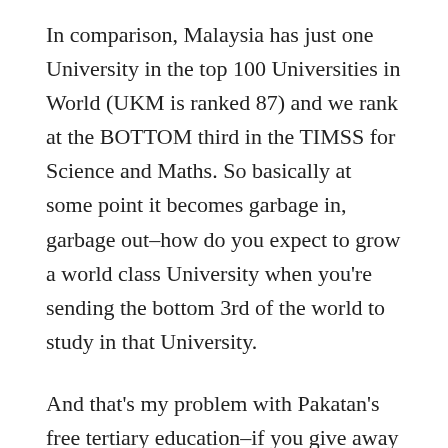In comparison, Malaysia has just one University in the top 100 Universities in World (UKM is ranked 87) and we rank at the BOTTOM third in the TIMSS for Science and Maths. So basically at some point it becomes garbage in, garbage out–how do you expect to grow a world class University when you're sending the bottom 3rd of the world to study in that University.
And that's my problem with Pakatan's free tertiary education–if you give away crap for free–it's still crap! However, my biggest gripe is still with Barisan, because it's on their watch that we experience such a sharp decline in our